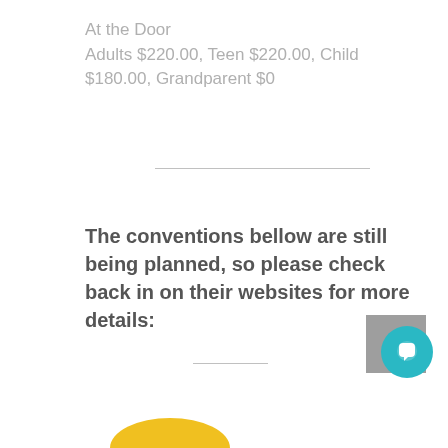At the Door
Adults $220.00, Teen $220.00, Child $180.00, Grandparent $0
The conventions bellow are still being planned, so please check back in on their websites for more details: